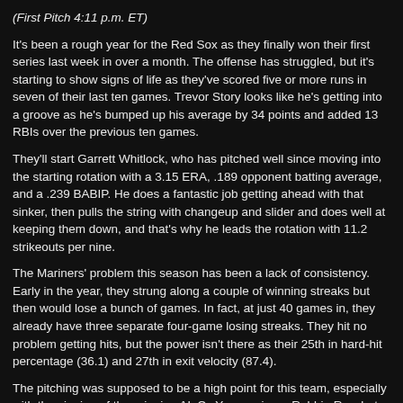(First Pitch 4:11 p.m. ET)
It's been a rough year for the Red Sox as they finally won their first series last week in over a month. The offense has struggled, but it's starting to show signs of life as they've scored five or more runs in seven of their last ten games. Trevor Story looks like he's getting into a groove as he's bumped up his average by 34 points and added 13 RBIs over the previous ten games.
They'll start Garrett Whitlock, who has pitched well since moving into the starting rotation with a 3.15 ERA, .189 opponent batting average, and a .239 BABIP. He does a fantastic job getting ahead with that sinker, then pulls the string with changeup and slider and does well at keeping them down, and that's why he leads the rotation with 11.2 strikeouts per nine.
The Mariners' problem this season has been a lack of consistency. Early in the year, they strung along a couple of winning streaks but then would lose a bunch of games. In fact, at just 40 games in, they already have three separate four-game losing streaks. They hit no problem getting hits, but the power isn't there as their 25th in hard-hit percentage (36.1) and 27th in exit velocity (87.4).
The pitching was supposed to be a high point for this team, especially with the signing of the reigning AL Cy Young winner Robbie Ray, but he's struggling along with the entire staff as they're 23rd in ERA (4.05).
Chris Flexen's 1-6 record is a mixture of lousy pitching but no run support. The 4.35 ERA stems from a bad outing allowing six earned in five innings, BUT other than that, he's not allowed more than three earned in any start. Unfortunately, the Mariners have scored just three runs in his six losses, including four shutouts. he's pitching well, but his offense is failing him.